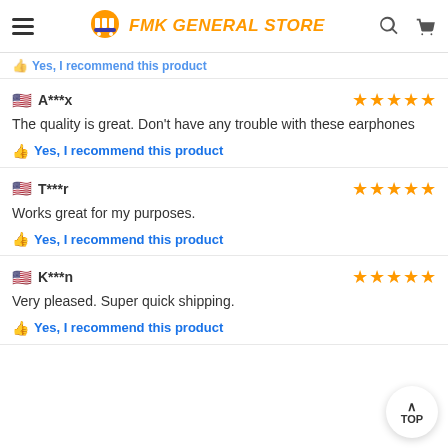FMK GENERAL STORE
Yes, I recommend this product
A***x — 5 stars
The quality is great. Don't have any trouble with these earphones
Yes, I recommend this product
T***r — 5 stars
Works great for my purposes.
Yes, I recommend this product
K***n — 5 stars
Very pleased. Super quick shipping.
Yes, I recommend this product